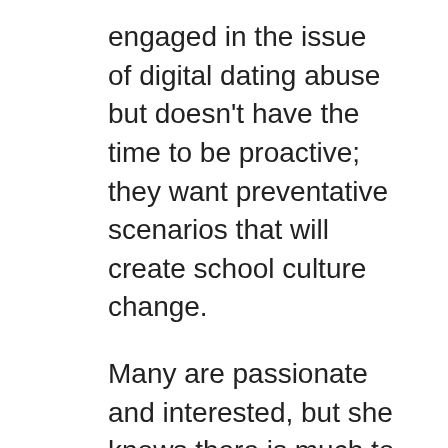engaged in the issue of digital dating abuse but doesn't have the time to be proactive; they want preventative scenarios that will create school culture change.
Many are passionate and interested, but she knows there is much to be done. She hopes, with more funding, to collect additional data through interviews and to begin to host workshops in the schools. Lauren also volunteers with Teen Voice, a dating violence and sexual assault peer education group at SafeHouse Center, an Ann Arbor organization that provides shelter and services for domestic violence and sexual assault survivors. She loves working with the Teen Voice group, and would like to replicate